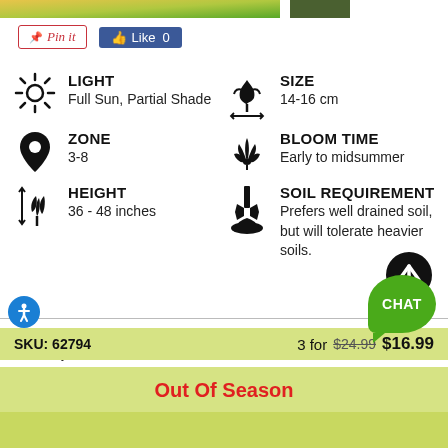[Figure (screenshot): Top image strip showing colorful plant/garden imagery]
[Figure (screenshot): Pinterest Pin it button and Facebook Like 0 button]
LIGHT
Full Sun, Partial Shade
SIZE
14-16 cm
ZONE
3-8
BLOOM TIME
Early to midsummer
HEIGHT
36 - 48 inches
SOIL REQUIREMENT
Prefers well drained soil, but will tolerate heavier soils.
We'll carefully pack and ship your order at the proper planting time for your hardiness zone.
SKU: 62794
3 for $24.99 $16.99
Out Of Season